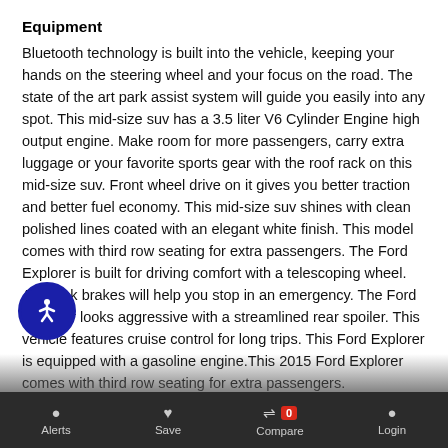Equipment
Bluetooth technology is built into the vehicle, keeping your hands on the steering wheel and your focus on the road. The state of the art park assist system will guide you easily into any spot. This mid-size suv has a 3.5 liter V6 Cylinder Engine high output engine. Make room for more passengers, carry extra luggage or your favorite sports gear with the roof rack on this mid-size suv. Front wheel drive on it gives you better traction and better fuel economy. This mid-size suv shines with clean polished lines coated with an elegant white finish. This model comes with third row seating for extra passengers. The Ford Explorer is built for driving comfort with a telescoping wheel. Anti-lock brakes will help you stop in an emergency. The Ford Explorer looks aggressive with a streamlined rear spoiler. This vehicle features cruise control for long trips. This Ford Explorer is equipped with a gasoline engine.This 2015 Ford Explorer comes with third row seating for extra passengers. The parking assist technology on it will put you at ease when parking. The system alerts you as you get closer to an obstruction. Make room for more passengers, carry extra luggage or your favorite sports gear with the roof rack on this mid-size suv. Anti-lock brakes will help you stop in an emergency.
[Figure (other): Accessibility icon - blue circle with white wheelchair user symbol]
Alerts  Save  Compare 0  Login